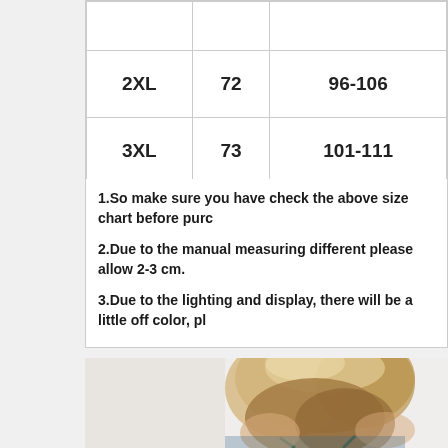|  |  |  |
| 2XL | 72 | 96-106 |
| 3XL | 73 | 101-111 |
1.So make sure you have check the above size chart before purc
2.Due to the manual measuring different please allow 2-3 cm.
3.Due to the lighting and display, there will be a little off color, pl
[Figure (photo): Woman with long blonde hair viewed from behind, wearing a swimsuit, photographed from shoulders up against a light background.]